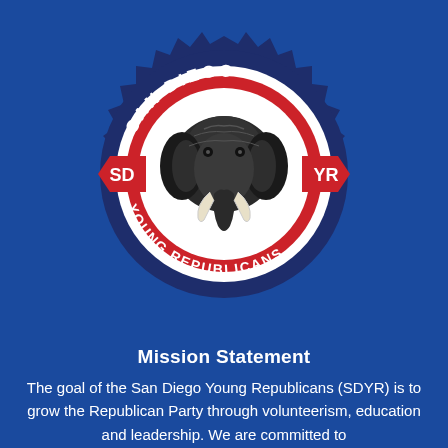[Figure (logo): San Diego Young Republicans circular badge logo with a gear/starburst outer ring in dark navy, red ribbon banners on the sides reading 'SD' and 'YR', an elephant head in a white circle center, and text 'SAN DIEGO' at top and 'YOUNG REPUBLICANS' at bottom of the badge.]
Mission Statement
The goal of the San Diego Young Republicans (SDYR) is to grow the Republican Party through volunteerism, education and leadership. We are committed to